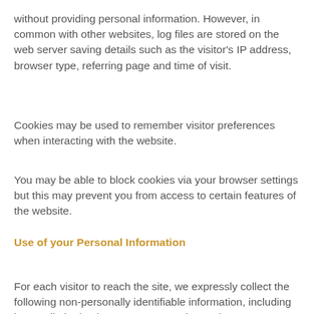without providing personal information. However, in common with other websites, log files are stored on the web server saving details such as the visitor's IP address, browser type, referring page and time of visit.
Cookies may be used to remember visitor preferences when interacting with the website.
You may be able to block cookies via your browser settings but this may prevent you from access to certain features of the website.
Use of your Personal Information
For each visitor to reach the site, we expressly collect the following non-personally identifiable information, including but not limited to browser type, version and